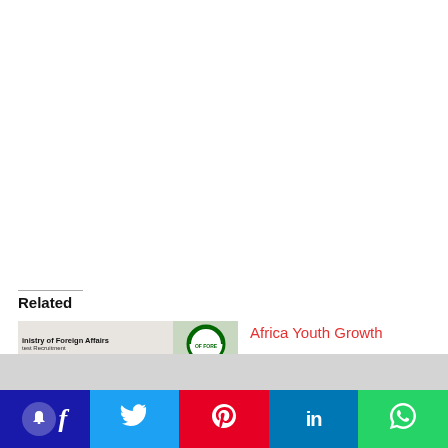Related
[Figure (screenshot): Thumbnail image showing Ministry of Foreign Affairs latest Recruitment newspaper clipping and logo]
Africa Youth Growth